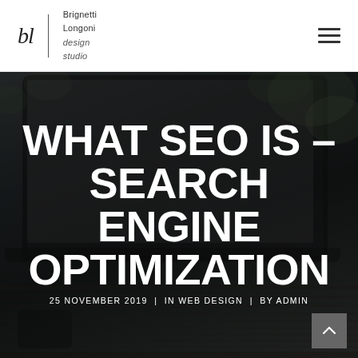Brignetti Longoni design studio
[Figure (photo): Dark hero background image showing a laptop on a wooden table outdoors, with blurred garden bokeh in background. The laptop screen shows a browser. A smartphone is visible in the lower left. The image is darkened/dimmed as a hero background.]
WHAT SEO IS – SEARCH ENGINE OPTIMIZATION
25 NOVEMBER 2019  |  IN WEB DESIGN  |  BY ADMIN